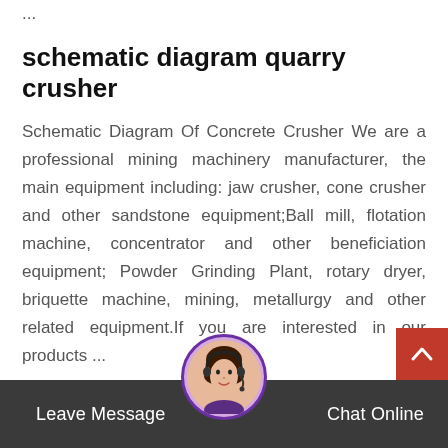...
schematic diagram quarry crusher
Schematic Diagram Of Concrete Crusher We are a professional mining machinery manufacturer, the main equipment including: jaw crusher, cone crusher and other sandstone equipment;Ball mill, flotation machine, concentrator and other beneficiation equipment; Powder Grinding Plant, rotary dryer, briquette machine, mining, metallurgy and other related equipment.If you are interested in our products ...
Mobile Impact Crushing Plant IDT
Mobile Impact Crushing Plant designed to be able to use